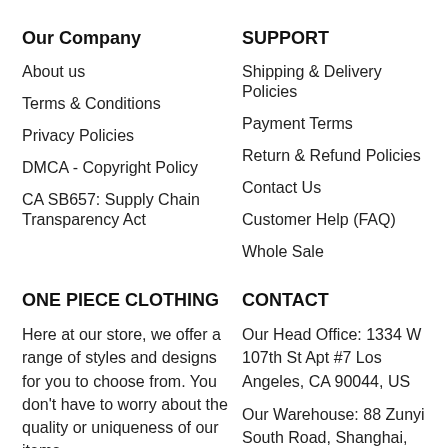Our Company
About us
Terms & Conditions
Privacy Policies
DMCA - Copyright Policy
CA SB657: Supply Chain Transparency Act
SUPPORT
Shipping & Delivery Policies
Payment Terms
Return & Refund Policies
Contact Us
Customer Help (FAQ)
Whole Sale
ONE PIECE CLOTHING
Here at our store, we offer a range of styles and designs for you to choose from. You don't have to worry about the quality or uniqueness of our items
CONTACT
Our Head Office: 1334 W 107th St Apt #7 Los Angeles, CA 90044, US
Our Warehouse: 88 Zunyi South Road, Shanghai, CN